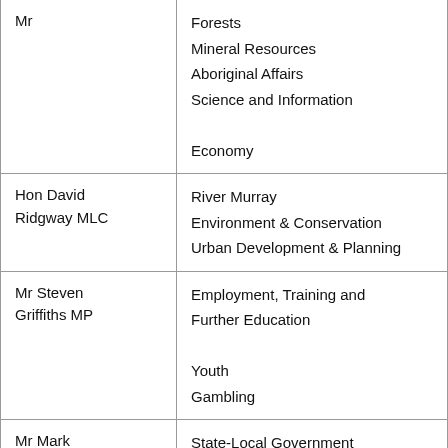| Name | Portfolios |
| --- | --- |
| Mr | Forests
Mineral Resources
Aboriginal Affairs
Science and Information
Economy |
| Hon David Ridgway MLC | River Murray
Environment & Conservation
Urban Development & Planning |
| Mr Steven Griffiths MP | Employment, Training and Further Education
Youth
Gambling |
| Mr Mark Goldsworthy MP | State-Local Government Relations
Emergency Services
Volunteers |